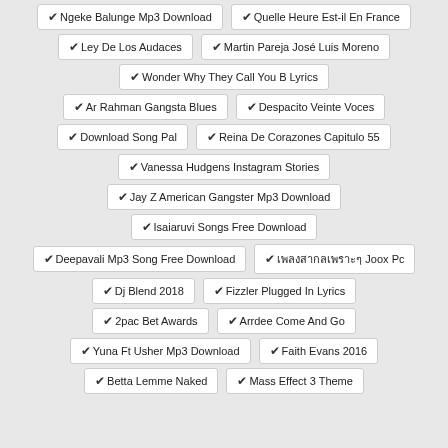✔Ngeke Balunge Mp3 Download
✔Quelle Heure Est-il En France
✔Ley De Los Audaces
✔Martin Pareja José Luis Moreno
✔Wonder Why They Call You B Lyrics
✔Ar Rahman Gangsta Blues
✔Despacito Veinte Voces
✔Download Song Pal
✔Reina De Corazones Capitulo 55
✔Vanessa Hudgens Instagram Stories
✔Jay Z American Gangster Mp3 Download
✔Isaiaruvi Songs Free Download
✔Deepavali Mp3 Song Free Download
✔เพลงสากลเพราะๆ Joox Pc
✔Dj Blend 2018
✔Fizzler Plugged In Lyrics
✔2pac Bet Awards
✔Arrdee Come And Go
✔Yuna Ft Usher Mp3 Download
✔Faith Evans 2016
✔Betta Lemme Naked
✔Mass Effect 3 Theme